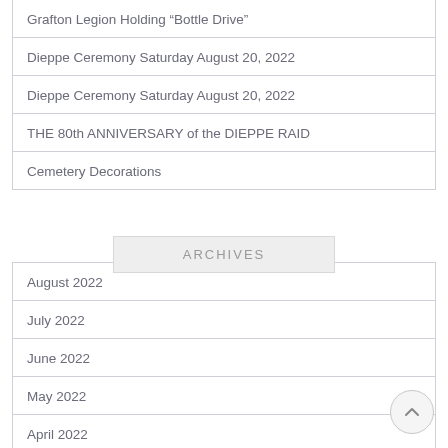Grafton Legion Holding “Bottle Drive”
Dieppe Ceremony Saturday August 20, 2022
Dieppe Ceremony Saturday August 20, 2022
THE 80th ANNIVERSARY of the DIEPPE RAID
Cemetery Decorations
ARCHIVES
August 2022
July 2022
June 2022
May 2022
April 2022